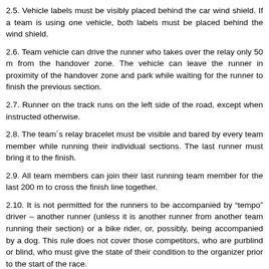2.5.  Vehicle labels must be visibly placed behind the car wind shield. If a team is using one vehicle, both labels must be placed behind the wind shield.
2.6.  Team vehicle can drive the runner who takes over the relay only 50 m from the handover zone. The vehicle can leave the runner in proximity of the handover zone and park while waiting for the runner to finish the previous section.
2.7.  Runner on the track runs on the left side of the road, except when instructed otherwise.
2.8.  The team´s relay bracelet must be visible and bared by every team member while running their individual sections. The last runner must bring it to the finish.
2.9.  All team members can join their last running team member for the last 200 m to cross the finish line together.
2.10.  It is not permitted for the runners to be accompanied by "tempo" driver – another runner (unless it is another runner from another team running their section) or a bike rider, or, possibly, being accompanied by a dog. This rule does not cover those competitors, who are purblind or blind, who must give the state of their condition to the organizer prior to the start of the race.
2.11.  Vehicles cannot accompany the runners during the race, they can´t serve as light for the sections run at night.